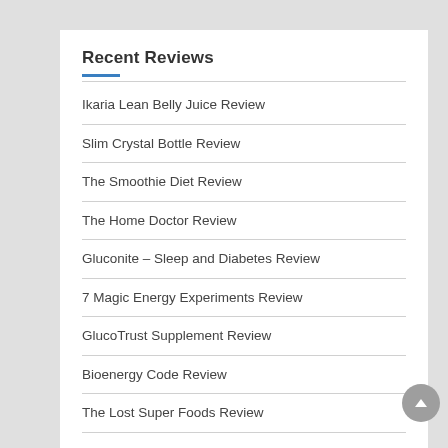Recent Reviews
Ikaria Lean Belly Juice Review
Slim Crystal Bottle Review
The Smoothie Diet Review
The Home Doctor Review
Gluconite - Sleep and Diabetes Review
7 Magic Energy Experiments Review
GlucoTrust Supplement Review
Bioenergy Code Review
The Lost Super Foods Review